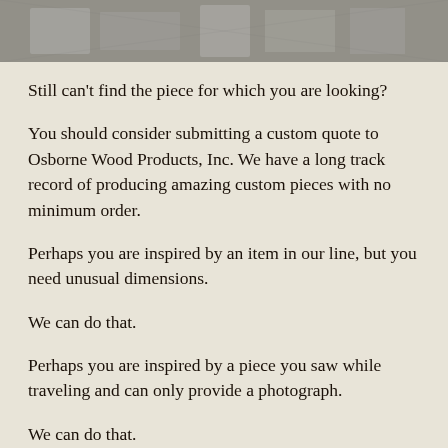[Figure (photo): Grayscale photo strip at top of page showing wood products or similar items]
Still can't find the piece for which you are looking?
You should consider submitting a custom quote to Osborne Wood Products, Inc. We have a long track record of producing amazing custom pieces with no minimum order.
Perhaps you are inspired by an item in our line, but you need unusual dimensions.
We can do that.
Perhaps you are inspired by a piece you saw while traveling and can only provide a photograph.
We can do that.
Perhaps you have an idea in mind and can only provide